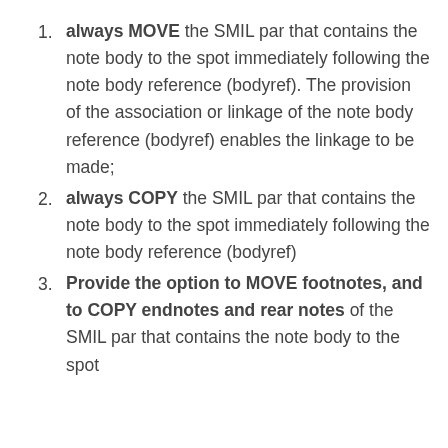always MOVE the SMIL par that contains the note body to the spot immediately following the note body reference (bodyref). The provision of the association or linkage of the note body reference (bodyref) enables the linkage to be made;
always COPY the SMIL par that contains the note body to the spot immediately following the note body reference (bodyref)
Provide the option to MOVE footnotes, and to COPY endnotes and rear notes of the SMIL par that contains the note body to the spot